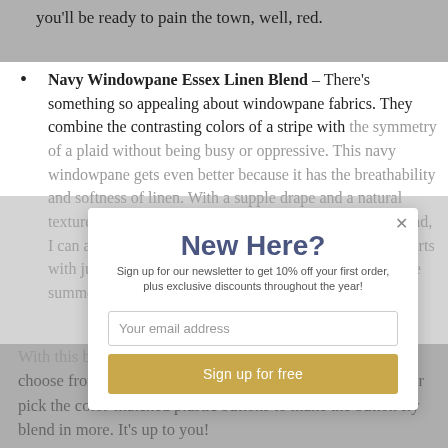you'll be ready to pain the town, well, red.
Navy Windowpane Essex Linen Blend – There's something so appealing about windowpane fabrics. They combine the contrasting colors of a stripe with the symmetry of a plaid without being busy or oppressive. This navy windowpane gets even better because it has the breathability and softness of linen. With a supple drape and a natural texture, your shorts will feel as wonderful as they look, and, I can assure you, they will look wonderful. Style your shorts with just a simple t-shirt and you have a unique and subtle summer outfit that can be worn for years.
[Figure (screenshot): Newsletter signup modal overlay with heading 'New Here?', subtext 'Sign up for our newsletter to get 10% off your first order, plus exclusive discounts throughout the year!', an email input field, and a gold 'Sign up for free' button.]
With this box, I'm also offering two button options; choose from antique brass jeans buttons for a contrast look or pick the color-matched plastic buttons to make the button fly blend in more. It's up to you!